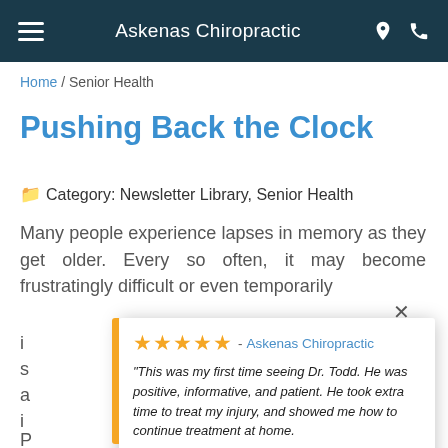Askenas Chiropractic
Home / Senior Health
Pushing Back the Clock
Category: Newsletter Library, Senior Health
Many people experience lapses in memory as they get older. Every so often, it may become frustratingly difficult or even temporarily i… s… a… i…
[Figure (screenshot): Review popup card with 5 gold stars, Askenas Chiropractic link, italic review quote from Jennifer T., attribution to Jennifer Troy in the last 2 weeks, and Review Wave branding. Yellow left accent bar. Close X button.]